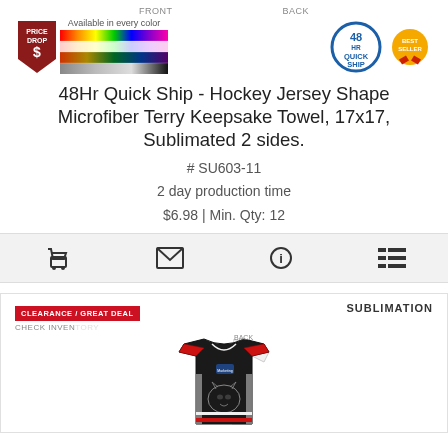FRONT | BACK
[Figure (photo): Price Drop badge (red shield), color swatch grid showing available colors, 48Hr Quick Ship circular badge, Best Seller badge]
48Hr Quick Ship - Hockey Jersey Shape Microfiber Terry Keepsake Towel, 17x17, Sublimated 2 sides.
# SU603-11
2 day production time
$6.98 | Min. Qty: 12
[Figure (other): Toolbar icons: shopping cart, envelope, info, bullet list]
[Figure (photo): Clearance / Great Deal badge (red), Check Inventory text, SUBLIMATION label, hockey jersey image in black/red/white with wolf graphic]